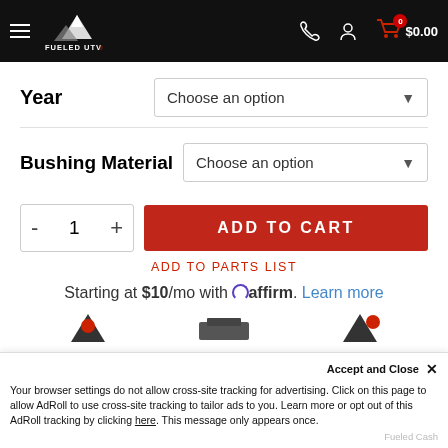Fueled UTV - Navigation header with logo, phone, account, and cart icons showing $0.00
Year — Choose an option
Bushing Material — Choose an option
- 1 + ADD TO CART
ADD TO PARTS LIST
Starting at $10/mo with affirm. Learn more
Accept and Close ×
Your browser settings do not allow cross-site tracking for advertising. Click on this page to allow AdRoll to use cross-site tracking to tailor ads to you. Learn more or opt out of this AdRoll tracking by clicking here. This message only appears once.
Fueled Cash